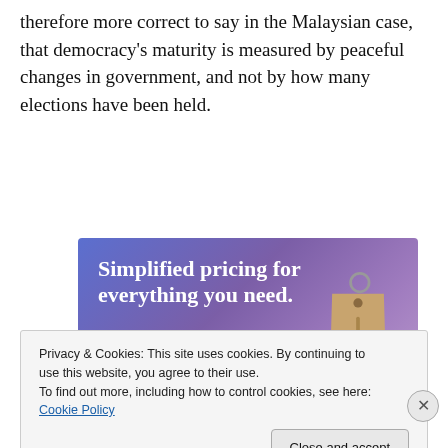therefore more correct to say in the Malaysian case, that democracy's maturity is measured by peaceful changes in government, and not by how many elections have been held.
[Figure (screenshot): Advertisement banner with gradient blue-purple background showing 'Simplified pricing for everything you need.' text with a 'Build Your Website' pink button and a price tag graphic on the right.]
Privacy & Cookies: This site uses cookies. By continuing to use this website, you agree to their use.
To find out more, including how to control cookies, see here: Cookie Policy